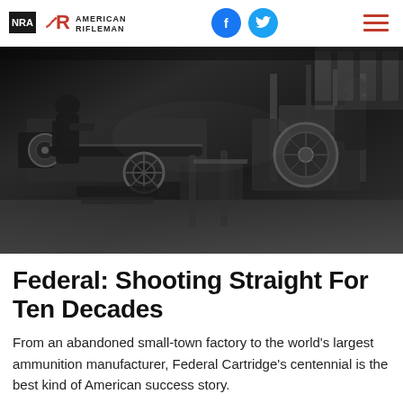NRA American Rifleman
[Figure (photo): Black and white historical photograph of workers operating heavy machinery in an ammunition factory, showing large metal lathes and equipment with workers in caps and work clothes]
Federal: Shooting Straight For Ten Decades
From an abandoned small-town factory to the world's largest ammunition manufacturer, Federal Cartridge's centennial is the best kind of American success story.